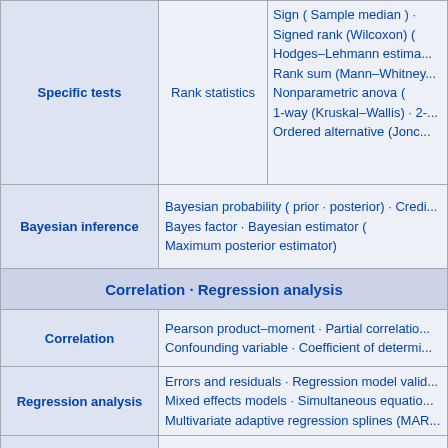| Category | Subcategory | Items |
| --- | --- | --- |
| Specific tests | Rank statistics | Sign ( Sample median ) · Signed rank (Wilcoxon) ( Hodges–Lehmann estima... Rank sum (Mann–Whitney... Nonparametric anova ( 1-way (Kruskal–Wallis) · 2-... Ordered alternative (Jonc... |
| Bayesian inference |  | Bayesian probability ( prior · posterior) · Credi... Bayes factor · Bayesian estimator ( Maximum posterior estimator) |
|  | Correlation · Regression analysis |  |
| Correlation |  | Pearson product–moment · Partial correlatio... Confounding variable · Coefficient of determi... |
| Regression analysis |  | Errors and residuals · Regression model vali... Mixed effects models · Simultaneous equatio... Multivariate adaptive regression splines (MAR... |
| Linear regression |  | Simple linear regression · Ordinary least squ... General linear model · Bayesian regression |
| Non-standard predictors |  | Nonlinear regression · Nonparametric · Semi... Isotonic · Robust · Heteroscedasticity · Homo... |
| Generalized linear model |  | Exponential families · Logistic (Bernoulli) / Bin... Poisson regressions |